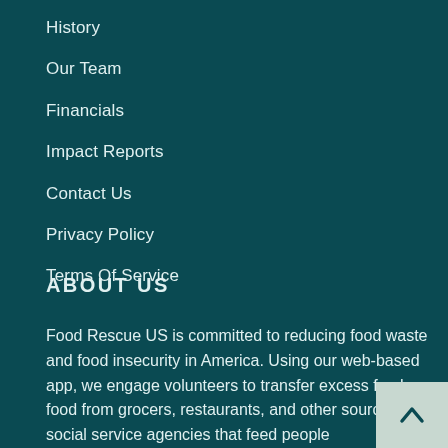History
Our Team
Financials
Impact Reports
Contact Us
Privacy Policy
Terms Of Service
ABOUT US
Food Rescue US is committed to reducing food waste and food insecurity in America. Using our web-based app, we engage volunteers to transfer excess fresh food from grocers, restaurants, and other sources, to social service agencies that feed people